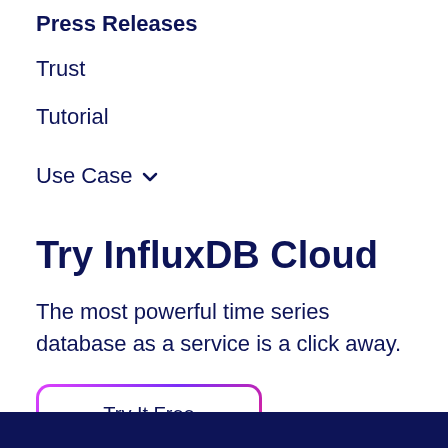Press Releases
Trust
Tutorial
Use Case
Try InfluxDB Cloud
The most powerful time series database as a service is a click away.
Try It Free